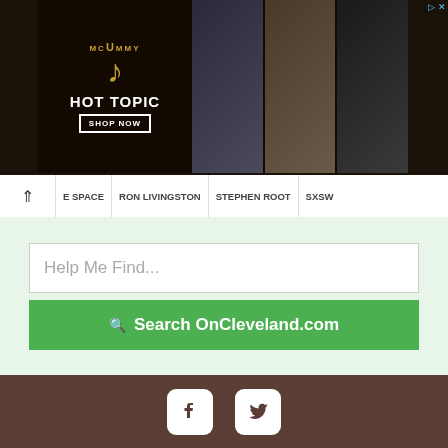[Figure (screenshot): Hot Topic Mummy movie advertisement banner with dark background, movie logo, three fashion photos on right side]
E SPACE  RON LIVINGSTON  STEPHEN ROOT  SXSW
Help Me Find...
Search OnCleveland.com
CLEVELAND
77°
clear sky
51% humidity
[Figure (logo): Facebook and Twitter social media icons in white on brown background]